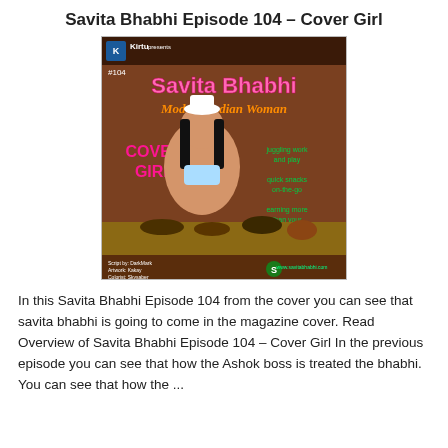Savita Bhabhi Episode 104 – Cover Girl
[Figure (illustration): Comic book cover illustration for Savita Bhabhi Episode 104 titled 'Modern Indian Woman – Cover Girl' by Kirtu. Features a cartoon Indian woman in a chef's hat and revealing outfit leaning over a table of food. Text on cover includes: '#104', 'Savita Bhabhi', 'Modern Indian Woman', 'COVER GIRL', 'juggling work and play', 'quick snacks on-the-go', 'earning more than your husband?'. Credits: Script by DarkMark, Artwork: Kakay, Colorist: Skysaber. Website: www.savitabhabhi.com]
In this Savita Bhabhi Episode 104 from the cover you can see that savita bhabhi is going to come in the magazine cover. Read Overview of Savita Bhabhi Episode 104 – Cover Girl In the previous episode you can see that how the Ashok boss is treated the bhabhi. You can see that how the ...